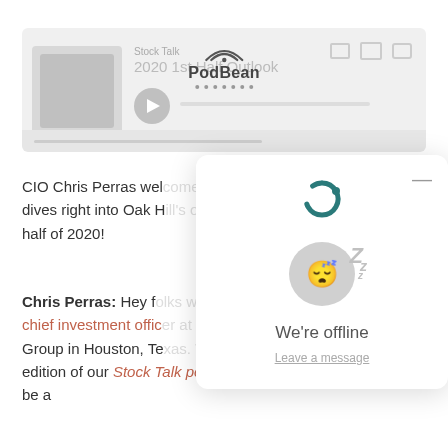[Figure (screenshot): PodBean podcast player embed showing 'Stock Talk' podcast, episode '2020 1st Half Outlook' with play button and progress bar. PodBean logo overlay visible.]
CIO Chris Perras welcomes listeners and dives right into Oak Hill's outlook for the first half of 2020!
Chris Perras: Hey folks welcome. I'm Chris Perras, chief investment officer at Oak Hill Advisors Group in Houston, Texas. Welcome to this edition of our Stock Talk podcast. This podcast can be a
[Figure (screenshot): Live chat widget overlay showing sleeping moon icon, 'We're offline' message, and 'Leave a message' link.]